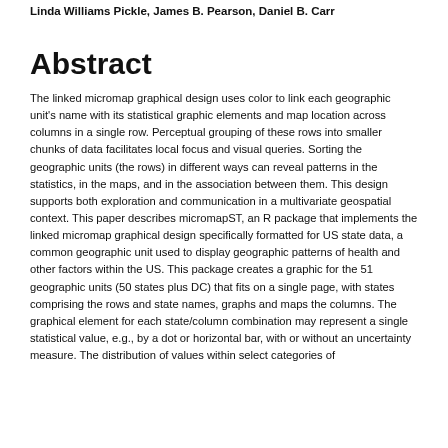Linda Williams Pickle, James B. Pearson, Daniel B. Carr
Abstract
The linked micromap graphical design uses color to link each geographic unit's name with its statistical graphic elements and map location across columns in a single row. Perceptual grouping of these rows into smaller chunks of data facilitates local focus and visual queries. Sorting the geographic units (the rows) in different ways can reveal patterns in the statistics, in the maps, and in the association between them. This design supports both exploration and communication in a multivariate geospatial context. This paper describes micromapST, an R package that implements the linked micromap graphical design specifically formatted for US state data, a common geographic unit used to display geographic patterns of health and other factors within the US. This package creates a graphic for the 51 geographic units (50 states plus DC) that fits on a single page, with states comprising the rows and state names, graphs and maps the columns. The graphical element for each state/column combination may represent a single statistical value, e.g., by a dot or horizontal bar, with or without an uncertainty measure. The distribution of values within select categories of